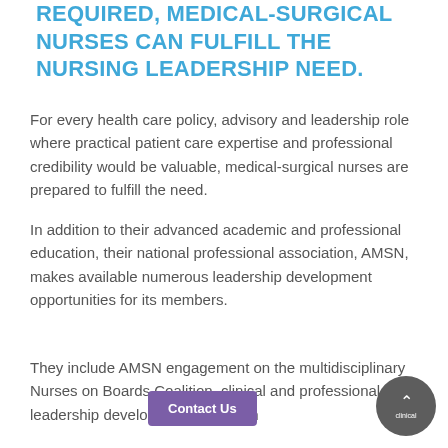REQUIRED, MEDICAL-SURGICAL NURSES CAN FULFILL THE NURSING LEADERSHIP NEED.
For every health care policy, advisory and leadership role where practical patient care expertise and professional credibility would be valuable, medical-surgical nurses are prepared to fulfill the need.
In addition to their advanced academic and professional education, their national professional association, AMSN, makes available numerous leadership development opportunities for its members.
They include AMSN engagement on the multidisciplinary Nurses on Boards Coalition, clinical and professional leadership development education